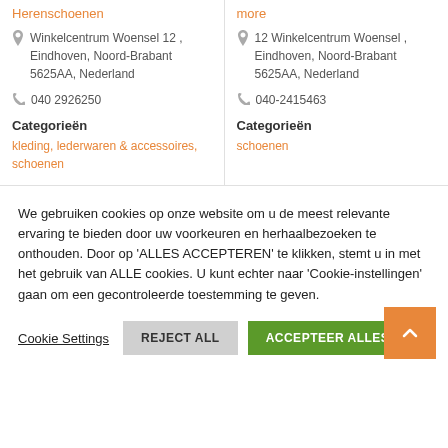Herenschoenen
Winkelcentrum Woensel 12 , Eindhoven, Noord-Brabant 5625AA, Nederland
040 2926250
Categorieën
kleding, lederwaren & accessoires, schoenen
more
12 Winkelcentrum Woensel , Eindhoven, Noord-Brabant 5625AA, Nederland
040-2415463
Categorieën
schoenen
We gebruiken cookies op onze website om u de meest relevante ervaring te bieden door uw voorkeuren en herhaalbezoeken te onthouden. Door op 'ALLES ACCEPTEREN' te klikken, stemt u in met het gebruik van ALLE cookies. U kunt echter naar 'Cookie-instellingen' gaan om een gecontroleerde toestemming te geven.
Cookie Settings
REJECT ALL
ACCEPTEER ALLES